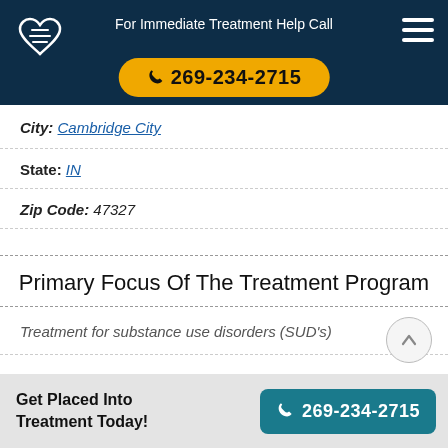For Immediate Treatment Help Call 269-234-2715
City: Cambridge City
State: IN
Zip Code: 47327
Primary Focus Of The Treatment Program
Treatment for substance use disorders (SUD's)
Get Placed Into Treatment Today! 269-234-2715